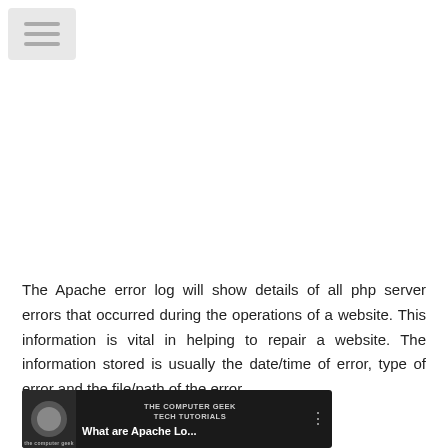[Figure (screenshot): Hamburger menu button with three horizontal bars on a light gray rounded rectangle background]
The Apache error log will show details of all php server errors that occurred during the operations of a website. This information is vital in helping to repair a website. The information stored is usually the date/time of error, type of error and the file/path of the error.
[Figure (screenshot): Video thumbnail showing 'the computer geek TECH TUTORIALS' channel with title 'What are Apache Lo...' on dark background]